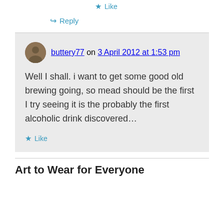★ Like
↳ Reply
buttery77 on 3 April 2012 at 1:53 pm
Well I shall. i want to get some good old brewing going, so mead should be the first I try seeing it is the probably the first alcoholic drink discovered…
★ Like
Art to Wear for Everyone